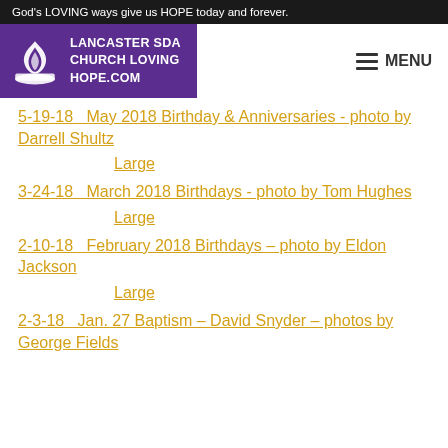God's LOVING ways give us HOPE today and forever.
[Figure (logo): Lancaster SDA Church Loving Hope.com logo with purple background and SDA flame/book symbol]
5-19-18   May 2018 Birthday & Anniversaries - photo by Darrell Shultz
Large
3-24-18   March 2018 Birthdays - photo by Tom Hughes
Large
2-10-18   February 2018 Birthdays - photo by Eldon Jackson
Large
2-3-18   Jan. 27 Baptism - David Snyder - photos by George Fields